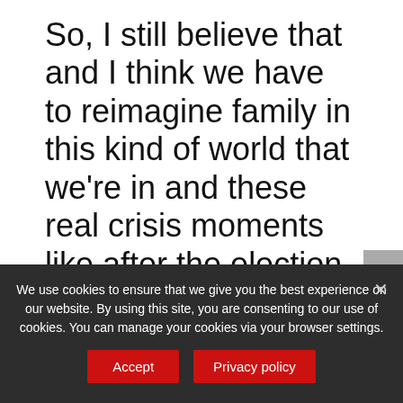So, I still believe that and I think we have to reimagine family in this kind of world that we're in and these real crisis moments like after the election and after the Pulse massacre. What I've noticed is that my community gets really connected and really focused on loving and supporting each other. And that is really inspiring. And I think I want a world where that feels true even when we're not in crisis where
We use cookies to ensure that we give you the best experience on our website. By using this site, you are consenting to our use of cookies. You can manage your cookies via your browser settings.